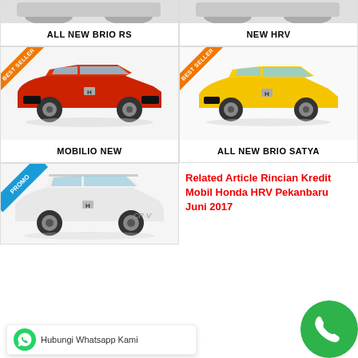[Figure (photo): Partial top view of Honda Brio RS car (cropped)]
[Figure (photo): Partial top view of Honda HRV car (cropped)]
ALL NEW BRIO RS
NEW HRV
[Figure (photo): Red Honda Mobilio New with BEST SELLER ribbon badge]
[Figure (photo): Yellow Honda All New Brio Satya with BEST SELLER ribbon badge]
MOBILIO NEW
ALL NEW BRIO SATYA
[Figure (photo): White Honda CR-V with PROMO ribbon badge]
Related Article Rincian Kredit Mobil Honda HRV Pekanbaru Juni 2017
[Figure (infographic): WhatsApp contact bar with green phone button overlay]